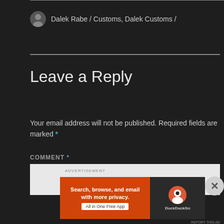Dalek Rabe / Customs, Dalek Customs /
Leave a Reply
Your email address will not be published. Required fields are marked *
COMMENT *
[Figure (screenshot): DuckDuckGo advertisement banner: Search, browse, and email with more privacy. All in One Free App.]